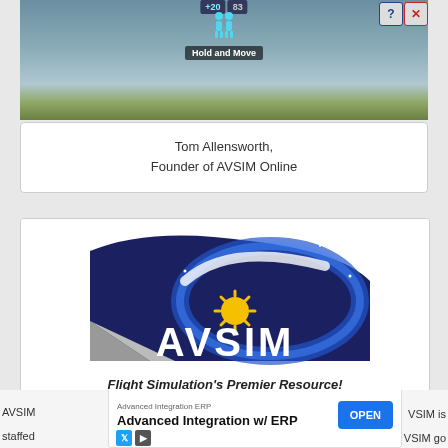[Figure (screenshot): Game UI screenshot showing a dark sky scene with scoring HUD displaying '+20' and '83', a figure icon, 'Hold and Move' label, and close/help buttons in top right corner]
Tom Allensworth,
Founder of AVSIM Online
[Figure (logo): AVSIM logo showing airplane tail fin with dark blue background, a yellow star/sun and blue swirl design, with 'AVSIM' text in white]
Flight Simulation's Premier Resource!
AVSIM
staffed
[Figure (screenshot): Advertisement banner: 'Advanced Integration ERP' / 'Advanced Integration w/ ERP' with blue OPEN button and social media icons]
VSIM is
VSIM go